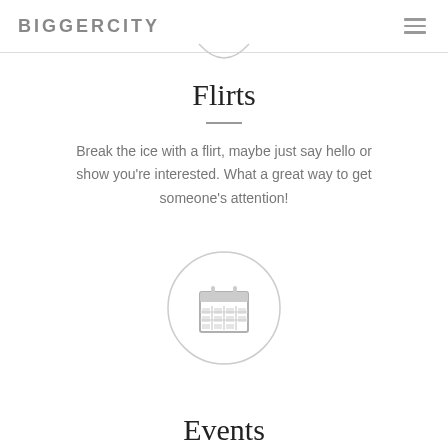BIGGERCITY
Flirts
Break the ice with a flirt, maybe just say hello or show you're interested. What a great way to get someone's attention!
[Figure (illustration): Circle icon with a calendar/grid symbol inside]
Events